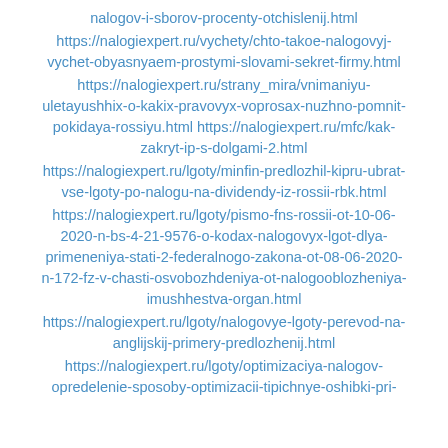nalogov-i-sborov-procenty-otchislenij.html https://nalogiexpert.ru/vychety/chto-takoe-nalogovyj-vychet-obyasnyaem-prostymi-slovami-sekret-firmy.html https://nalogiexpert.ru/strany_mira/vnimaniyu-uletayushhix-o-kakix-pravovyx-voprosax-nuzhno-pomnit-pokidaya-rossiyu.html https://nalogiexpert.ru/mfc/kak-zakryt-ip-s-dolgami-2.html https://nalogiexpert.ru/lgoty/minfin-predlozhil-kipru-ubrat-vse-lgoty-po-nalogu-na-dividendy-iz-rossii-rbk.html https://nalogiexpert.ru/lgoty/pismo-fns-rossii-ot-10-06-2020-n-bs-4-21-9576-o-kodax-nalogovyx-lgot-dlya-primeneniya-stati-2-federalnogo-zakona-ot-08-06-2020-n-172-fz-v-chasti-osvobozhdeniya-ot-nalogooblozheniya-imushhestva-organ.html https://nalogiexpert.ru/lgoty/nalogovye-lgoty-perevod-na-anglijskij-primery-predlozhenij.html https://nalogiexpert.ru/lgoty/optimizaciya-nalogov-opredelenie-sposoby-optimizacii-tipichnye-oshibki-pri-